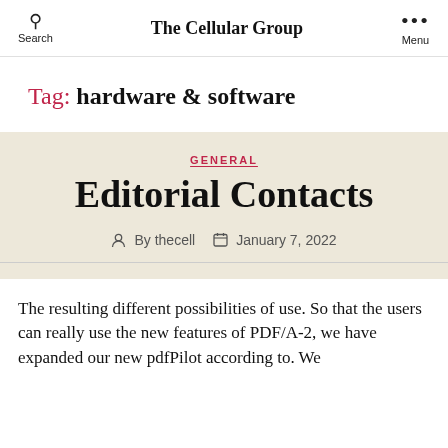Search | The Cellular Group | Menu
Tag: hardware & software
GENERAL
Editorial Contacts
By thecell   January 7, 2022
The resulting different possibilities of use. So that the users can really use the new features of PDF/A-2, we have expanded our new pdfPilot according to. We